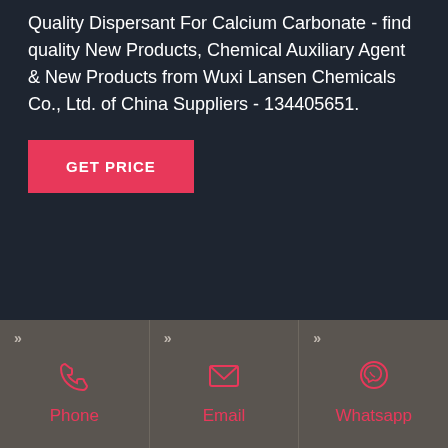Quality Dispersant For Calcium Carbonate - find quality New Products, Chemical Auxiliary Agent & New Products from Wuxi Lansen Chemicals Co., Ltd. of China Suppliers - 134405651.
GET PRICE
[Figure (other): Footer bar with three contact options: Phone (phone icon), Email (envelope icon), Whatsapp (WhatsApp icon), each in a separate column with a double-chevron in the top-left corner, icons and labels in red/pink color on dark grey background.]